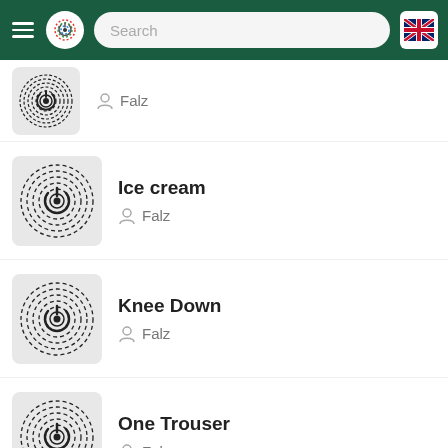[Figure (screenshot): App header with hamburger menu, colorful logo, search bar, and UK flag button on dark green background]
Falz
Ice cream
Falz
Knee Down
Falz
One Trouser
Falz